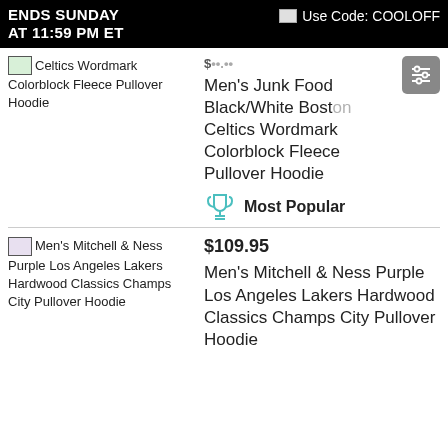ENDS SUNDAY AT 11:59 PM ET | Use Code: COOLOFF
Celtics Wordmark Colorblock Fleece Pullover Hoodie
Men's Junk Food Black/White Boston Celtics Wordmark Colorblock Fleece Pullover Hoodie
Most Popular
$109.95
Men's Mitchell & Ness Purple Los Angeles Lakers Hardwood Classics Champs City Pullover Hoodie
Men's Mitchell & Ness Purple Los Angeles Lakers Hardwood Classics Champs City Pullover Hoodie